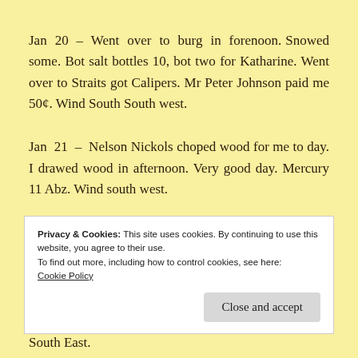Jan 20 – Went over to burg in forenoon. Snowed some. Bot salt bottles 10, bot two for Katharine. Went over to Straits got Calipers. Mr Peter Johnson paid me 50¢. Wind South South west.
Jan 21 – Nelson Nickols choped wood for me to day. I drawed wood in afternoon. Very good day. Mercury 11 Abz. Wind south west.
Privacy & Cookies: This site uses cookies. By continuing to use this website, you agree to their use.
To find out more, including how to control cookies, see here:
Cookie Policy

Close and accept
South East.